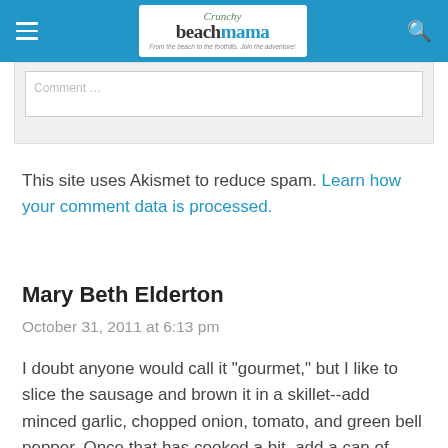Crunchy Beach Mama — From the beach to the foothills. Join the adventure!
[Figure (screenshot): Partial comment input box with grey background]
This site uses Akismet to reduce spam. Learn how your comment data is processed.
Mary Beth Elderton
October 31, 2011 at 6:13 pm
I doubt anyone would call it "gourmet," but I like to slice the sausage and brown it in a skillet--add minced garlic, chopped onion, tomato, and green bell pepper. Once that has cooked a bit, add a can of hominy (corn will do, if you don't have hominy.) For my taste, I also add diced green peppers and a pinch of crushed red